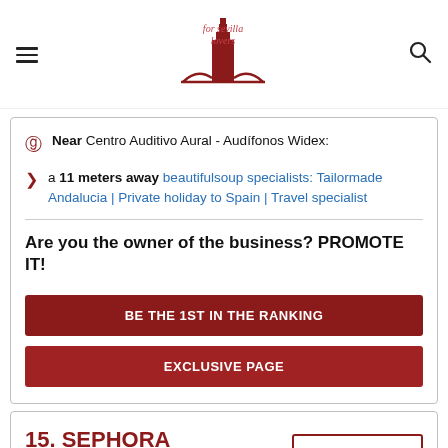[Figure (logo): For Sevilla Lovers logo with tower icon and cursive text]
Near Centro Auditivo Aural - Audífonos Widex:
a 11 meters away beautifulsoup specialists: Tailormade Andalucia | Private holiday to Spain | Travel specialist
Are you the owner of the business? PROMOTE IT!
BE THE 1ST IN THE RANKING
EXCLUSIVE PAGE
15. SEPHORA SEVILLA NERVIÓN
LEAVE AN OPINION